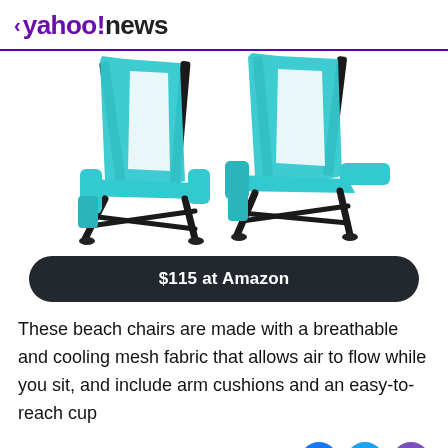< yahoo!news
[Figure (photo): Two teal/turquoise folding beach chairs with black metal frames, white mesh fabric seat backs, teal arm cushions and side pockets, photographed from the side on a white background.]
$115 at Amazon
These beach chairs are made with a breathable and cooling mesh fabric that allows air to flow while you sit, and include arm cushions and an easy-to-reach cup
View comments